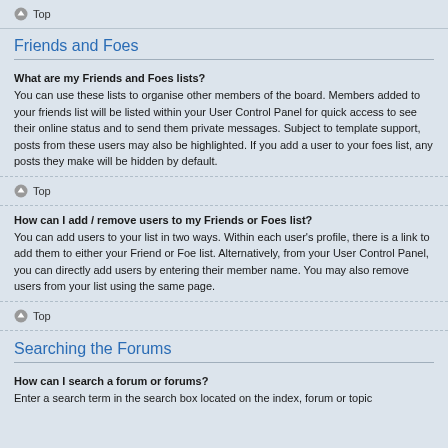⬆ Top
Friends and Foes
What are my Friends and Foes lists? You can use these lists to organise other members of the board. Members added to your friends list will be listed within your User Control Panel for quick access to see their online status and to send them private messages. Subject to template support, posts from these users may also be highlighted. If you add a user to your foes list, any posts they make will be hidden by default.
⬆ Top
How can I add / remove users to my Friends or Foes list? You can add users to your list in two ways. Within each user's profile, there is a link to add them to either your Friend or Foe list. Alternatively, from your User Control Panel, you can directly add users by entering their member name. You may also remove users from your list using the same page.
⬆ Top
Searching the Forums
How can I search a forum or forums? Enter a search term in the search box located on the index, forum or topic